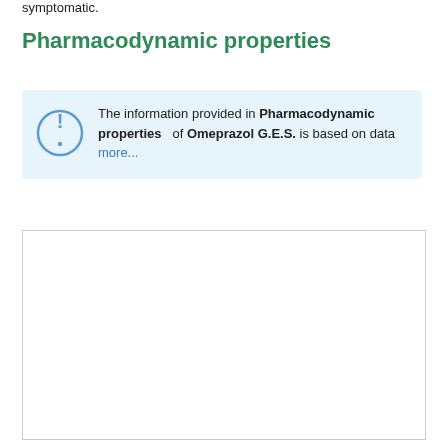symptomatic.
Pharmacodynamic properties
The information provided in Pharmacodynamic properties of Omeprazol G.E.S. is based on data more...
[Figure (other): Empty white content box with border]